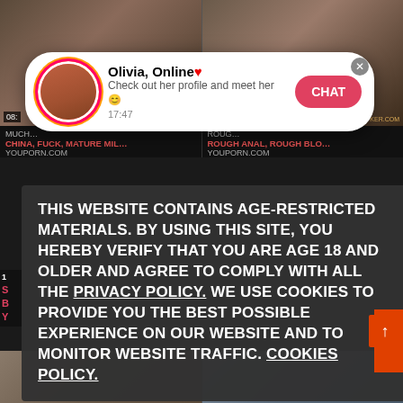[Figure (screenshot): Background showing adult video thumbnails from YouPorn.com with red category labels 'CHINA, FUCK, MATURE MIL...' and 'ROUGH ANAL, ROUGH BLO...' and gray title text 'MUCH...' and 'ROUG...']
[Figure (screenshot): Notification popup showing 'Olivia, Online♥' with avatar, text 'Check out her profile and meet her 😊', time '17:47', and a pink CHAT button with X close button]
THIS WEBSITE CONTAINS AGE-RESTRICTED MATERIALS. BY USING THIS SITE, YOU HEREBY VERIFY THAT YOU ARE AGE 18 AND OLDER AND AGREE TO COMPLY WITH ALL THE PRIVACY POLICY. WE USE COOKIES TO PROVIDE YOU THE BEST POSSIBLE EXPERIENCE ON OUR WEBSITE AND TO MONITOR WEBSITE TRAFFIC. COOKIES POLICY.